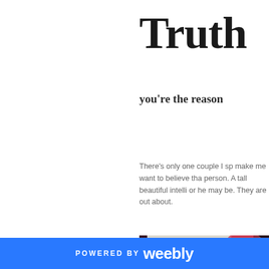Truth
you’re the reason
There’s only one couple I sp make me want to believe tha person. A tall beautiful intelli or he may be. They are out about.
[Figure (photo): Photo showing a dark maroon/burgundy background with a cream-colored paper or card leaning against it, and a large pink/red circular wax seal or decorative element overlapping it.]
POWERED BY weebly